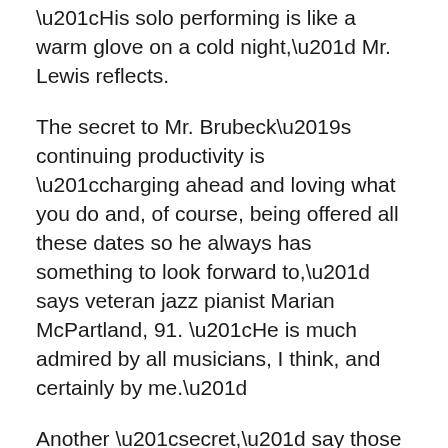“His solo performing is like a warm glove on a cold night,” Mr. Lewis reflects.
The secret to Mr. Brubeck’s continuing productivity is “charging ahead and loving what you do and, of course, being offered all these dates so he always has something to look forward to,” says veteran jazz pianist Marian McPartland, 91. “He is much admired by all musicians, I think, and certainly by me.”
Another “secret,” say those closest to him, is his wife, Iola — a lyricist — and the contentment and creativity of a 67-year marriage that produced six children, four of whom grew up to be musicians. Mrs. Brubeck, 86, whom he met at a college dance, is